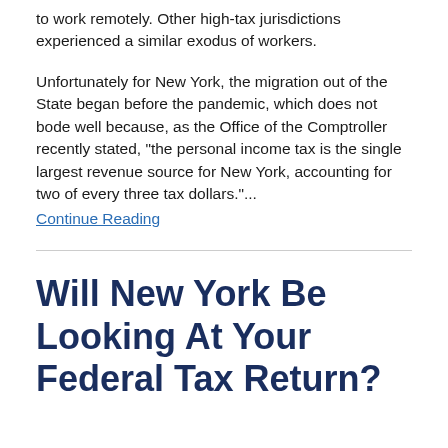to work remotely. Other high-tax jurisdictions experienced a similar exodus of workers.
Unfortunately for New York, the migration out of the State began before the pandemic, which does not bode well because, as the Office of the Comptroller recently stated, “the personal income tax is the single largest revenue source for New York, accounting for two of every three tax dollars.”...
Continue Reading
Will New York Be Looking At Your Federal Tax Return?